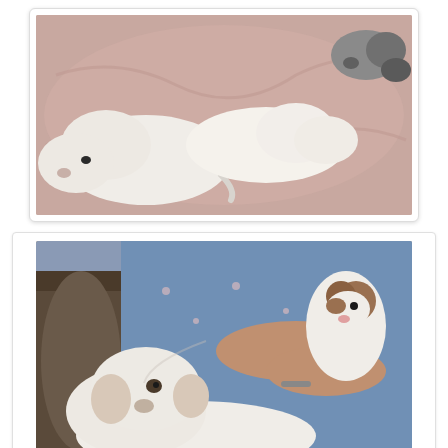[Figure (photo): Photo of newborn puppies lying on a pink blanket, white puppies in the foreground and darker puppies in the background.]
[Figure (photo): Photo of a person holding a small brown and white puppy while a white dog (Shelby) looks up at the puppy from below.]
Today I had the pleasure of holding each of the puppies and giving them kisses today. Shelby made sure each puppy I held was in good hands. She is such a good Mommy as you can